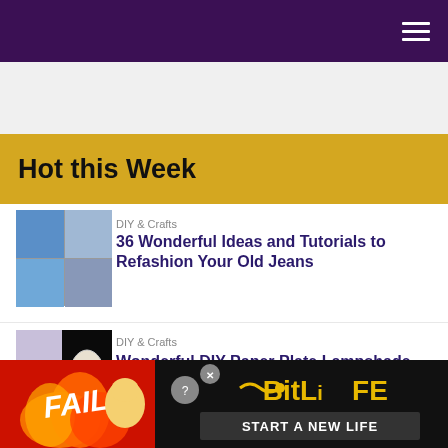Hot this Week
DIY & Crafts
36 Wonderful Ideas and Tutorials to Refashion Your Old Jeans
DIY & Crafts
Wonderful DIY Paper Plate Lampshade
[Figure (screenshot): Advertisement banner: BitLife 'START A NEW LIFE' game ad with fire and cartoon character]